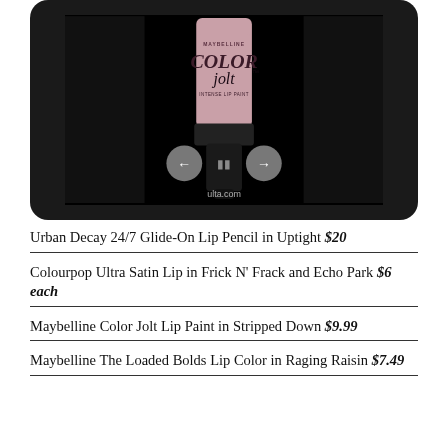[Figure (screenshot): A tablet/device showing a Maybelline Color Jolt Intense Lip Paint product tube on a dark background, with navigation controls (left arrow, pause, right arrow) and ulta.com watermark]
Urban Decay 24/7 Glide-On Lip Pencil in Uptight $20
Colourpop Ultra Satin Lip in Frick N' Frack and Echo Park $6 each
Maybelline Color Jolt Lip Paint in Stripped Down $9.99
Maybelline The Loaded Bolds Lip Color in Raging Raisin $7.49